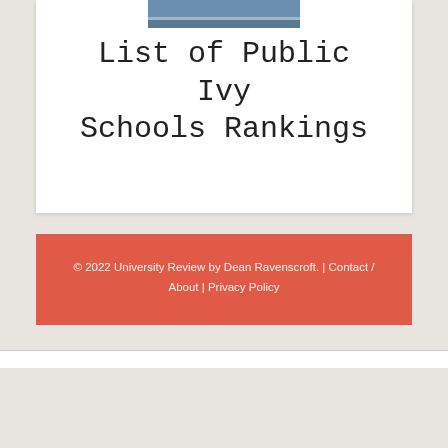[Figure (photo): Photo of a blue building, likely a university or public institution facade]
List of Public Ivy Schools Rankings
© 2022 University Review by Dean Ravenscroft. | Contact / About | Privacy Policy